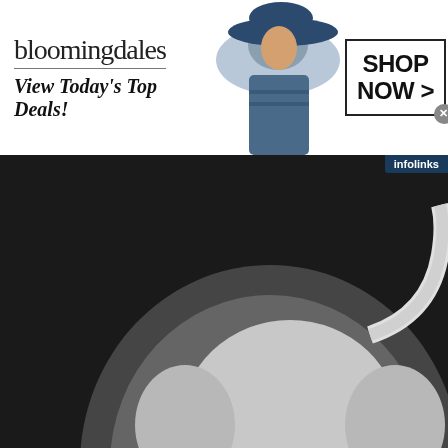[Figure (illustration): Bloomingdales banner ad showing logo, tagline 'View Today's Top Deals!', a woman wearing a large hat, and a 'SHOP NOW >' button]
[Figure (illustration): Cartoon character (elephant or similar gray animal) holding a large blue book/binder against a dark background. Infolinks branding visible top-right and bottom-left.]
[Figure (advertisement): Quicken ad: Quicken logo in red italic, headline 'Take Control of Your Finances', subtext 'Plan for today and tomorrow with solution to manage all your finan']